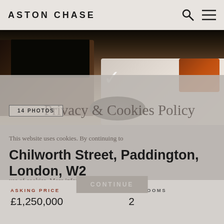ASTON CHASE
[Figure (photo): Interior living room photo of a Paddington flat, showing a TV cabinet on the left, a white sofa and orange cushions on the right, with a round coffee table in the foreground. A downward chevron/checkmark overlay appears in the centre.]
14 PHOTOS
Privacy & Cookies Policy
This website uses cookies. By continuing to
Chilworth Street, Paddington, London, W2
use of cookies. More information
CONTINUE
| ASKING PRICE | BEDROOMS |
| --- | --- |
| £1,250,000 | 2 |